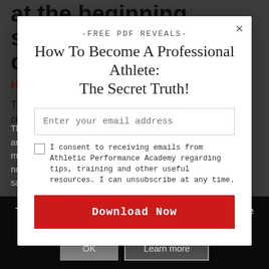at the beginning, should we be doing core stability?
Here's the case for Yes....
There is clearly quite a strong theoretical basis for doing core
[Figure (screenshot): Modal popup overlay with free PDF offer: '-FREE PDF REVEALS- How To Become A Professional Athlete: The Secret Truth!' with email input field, consent checkbox, and Download Now button]
This site uses cookies. By continuing to browse the site, you are agreeing to our use of cookies.
There is little su... abilities, mood and many of the ben... of this method of exercise have not been demo... general/aerobic training has the same benefits as general/aerobic exercise